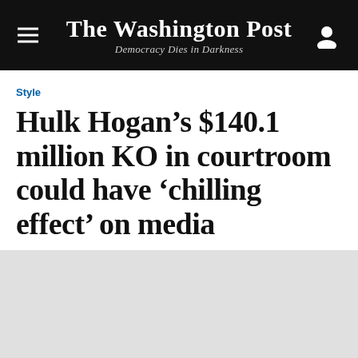The Washington Post — Democracy Dies in Darkness
Style
Hulk Hogan’s $140.1 million KO in courtroom could have ‘chilling effect’ on media
[Figure (photo): Gray placeholder image area below the article headline]